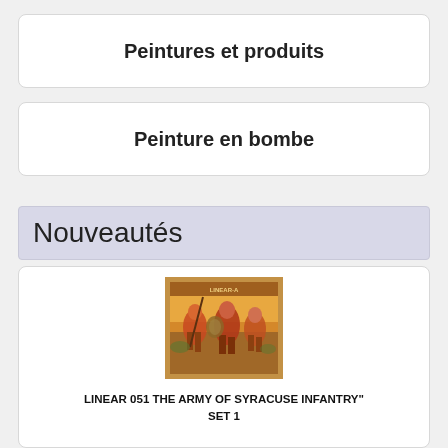Peintures et produits
Peinture en bombe
Nouveautés
[Figure (illustration): Product box art showing ancient soldiers in battle, colorful red and yellow tones, for LINEAR 051 THE ARMY OF SYRACUSE INFANTRY SET 1]
LINEAR 051 THE ARMY OF SYRACUSE INFANTRY" SET 1